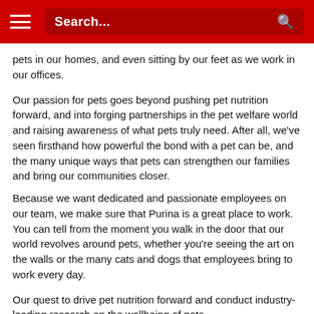Search...
pets in our homes, and even sitting by our feet as we work in our offices.
Our passion for pets goes beyond pushing pet nutrition forward, and into forging partnerships in the pet welfare world and raising awareness of what pets truly need. After all, we've seen firsthand how powerful the bond with a pet can be, and the many unique ways that pets can strengthen our families and bring our communities closer.
Because we want dedicated and passionate employees on our team, we make sure that Purina is a great place to work. You can tell from the moment you walk in the door that our world revolves around pets, whether you're seeing the art on the walls or the many cats and dogs that employees bring to work every day.
Our quest to drive pet nutrition forward and conduct industry-leading research on the wellbeing of pets